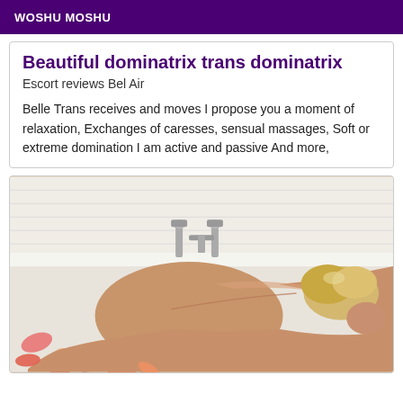WOSHU MOSHU
Beautiful dominatrix trans dominatrix
Escort reviews Bel Air
Belle Trans receives and moves I propose you a moment of relaxation, Exchanges of caresses, sensual massages, Soft or extreme domination I am active and passive And more,
[Figure (photo): A blonde woman lying in a bathtub surrounded by flower petals, viewed from behind, with bath faucets visible in the background.]